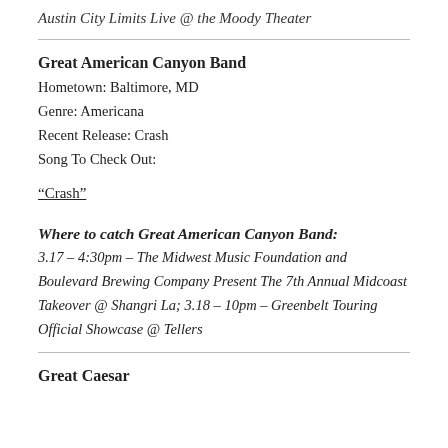Austin City Limits Live @ the Moody Theater
Great American Canyon Band
Hometown: Baltimore, MD
Genre: Americana
Recent Release: Crash
Song To Check Out:
“Crash”
Where to catch Great American Canyon Band:
3.17 – 4:30pm – The Midwest Music Foundation and Boulevard Brewing Company Present The 7th Annual Midcoast Takeover @ Shangri La; 3.18 – 10pm – Greenbelt Touring Official Showcase @ Tellers
Great Caesar